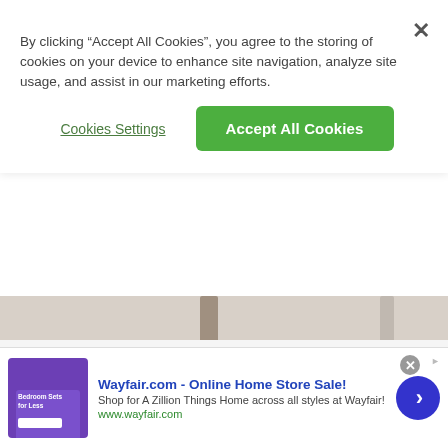By clicking "Accept All Cookies", you agree to the storing of cookies on your device to enhance site navigation, analyze site usage, and assist in our marketing efforts.
Cookies Settings
Accept All Cookies
[Figure (photo): Partial photograph visible behind cookie consent banner, and a close-up photo of white fabric/mattress protector material against dark background.]
Look Out for These 5 Invasive Pests
PestWorld.org
[Figure (screenshot): Advertisement banner for Wayfair.com showing a purple bedroom sets promotional image thumbnail, ad title, description, and a blue arrow button.]
Wayfair.com - Online Home Store Sale! Shop for A Zillion Things Home across all styles at Wayfair! www.wayfair.com